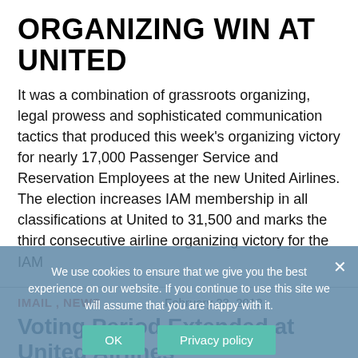ORGANIZING WIN AT UNITED
It was a combination of grassroots organizing, legal prowess and sophisticated communication tactics that produced this week's organizing victory for nearly 17,000 Passenger Service and Reservation Employees at the new United Airlines. The election increases IAM membership in all classifications at United to 31,500 and marks the third consecutive airline organizing victory for the IAM
IMAIL , NEWS    February 23, 2012
Voting Period Extended at United Airlines
We use cookies to ensure that we give you the best experience on our website. If you continue to use this site we will assume that you are happy with it.